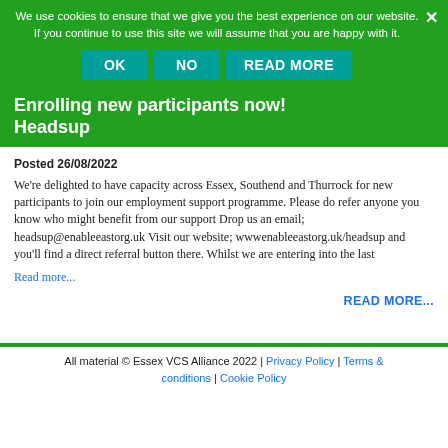We use cookies to ensure that we give you the best experience on our website. If you continue to use this site we will assume that you are happy with it.
Enrolling new participants now! Headsup
Posted 26/08/2022
We're delighted to have capacity across Essex, Southend and Thurrock for new participants to join our employment support programme. Please do refer anyone you know who might benefit from our support Drop us an email; headsup@enableeastorg.uk Visit our website; wwwenableeastorg.uk/headsup and you'll find a direct referral button there. Whilst we are entering into the last
Read more...
READ MORE...
All material © Essex VCS Alliance 2022 | Privacy Policy | Terms & conditions | Cookie Policy